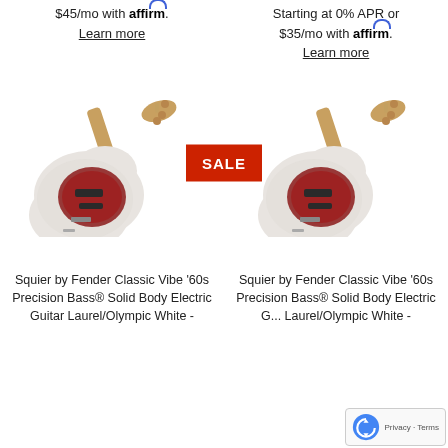$45/mo with affirm. Learn more
Starting at 0% APR or $35/mo with affirm. Learn more
[Figure (photo): Squier by Fender Classic Vibe 60s Precision Bass electric guitar in white with red pickguard, angled view]
[Figure (photo): Squier by Fender Classic Vibe 60s Precision Bass electric guitar in white with red pickguard, angled view, with SALE badge overlay]
SALE
Squier by Fender Classic Vibe '60s Precision Bass® Solid Body Electric Guitar Laurel/Olympic White -
Squier by Fender Classic Vibe '60s Precision Bass® Solid Body Electric G... Laurel/Olympic White -